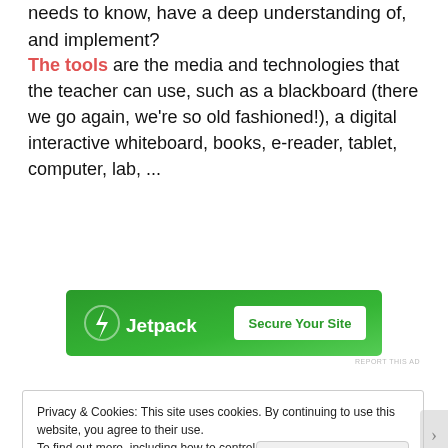needs to know, have a deep understanding of, and implement?
The tools are the media and technologies that the teacher can use, such as a blackboard (there we go again, we're so old fashioned!), a digital interactive whiteboard, books, e-reader, tablet, computer, lab, ...
[Figure (other): Jetpack advertisement banner with green background, Jetpack logo and lightning bolt icon, and 'Secure Your Site' button]
Privacy & Cookies: This site uses cookies. By continuing to use this website, you agree to their use.
To find out more, including how to control cookies, see here: Cookie Policy
Close and accept